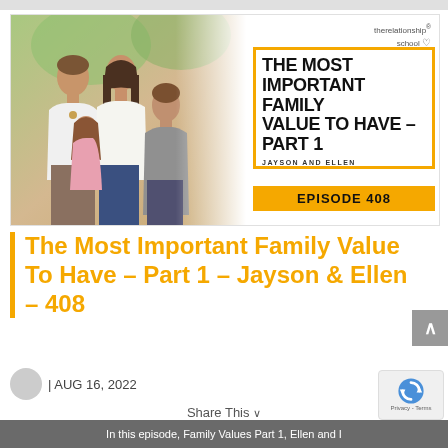[Figure (illustration): Podcast cover art for The Relationship School Episode 408. Left side shows a family of four (man, woman, teenage girl, young girl) smiling outdoors. Right side has white background with yellow border box containing bold black text 'THE MOST IMPORTANT FAMILY VALUE TO HAVE - PART 1' and 'JAYSON AND ELLEN', plus a yellow badge saying 'EPISODE 408'. Top right has 'therelationship school' logo with heart icon.]
The Most Important Family Value To Have – Part 1 – Jayson & Ellen – 408
| AUG 16, 2022
Share This
In this episode, Family Values Part 1, Ellen and I